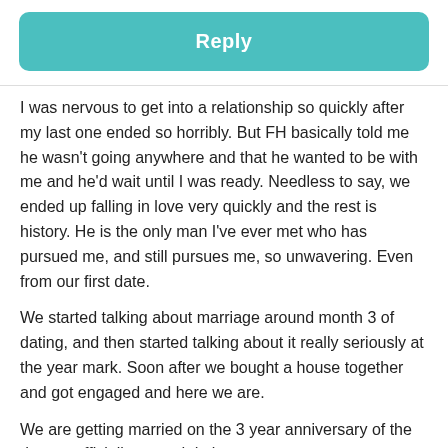Reply
I was nervous to get into a relationship so quickly after my last one ended so horribly. But FH basically told me he wasn't going anywhere and that he wanted to be with me and he'd wait until I was ready. Needless to say, we ended up falling in love very quickly and the rest is history. He is the only man I've ever met who has pursued me, and still pursues me, so unwavering. Even from our first date.
We started talking about marriage around month 3 of dating, and then started talking about it really seriously at the year mark. Soon after we bought a house together and got engaged and here we are.
We are getting married on the 3 year anniversary of the day we officially started dating.
1/26/16 I became his girlfriend, and 1/26/2019 I will become his wife.